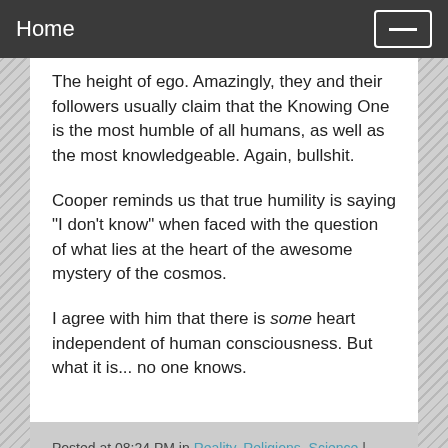Home
The height of ego. Amazingly, they and their followers usually claim that the Knowing One is the most humble of all humans, as well as the most knowledgeable. Again, bullshit.
Cooper reminds us that true humility is saying "I don't know" when faced with the question of what lies at the heart of the awesome mystery of the cosmos.
I agree with him that there is some heart independent of human consciousness. But what it is... no one knows.
Posted at 08:24 PM in Reality, Religions, Science | Permalink